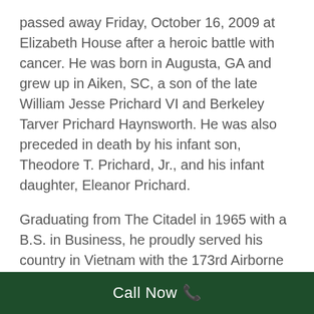passed away Friday, October 16, 2009 at Elizabeth House after a heroic battle with cancer. He was born in Augusta, GA and grew up in Aiken, SC, a son of the late William Jesse Prichard VI and Berkeley Tarver Prichard Haynsworth. He was also preceded in death by his infant son, Theodore T. Prichard, Jr., and his infant daughter, Eleanor Prichard.
Graduating from The Citadel in 1965 with a B.S. in Business, he proudly served his country in Vietnam with the 173rd Airborne Brigade 1966-67, was twice decorated, receiving the Bronze Star and Army Commendation Medal; also serving with the 82nd Airborne Division in
Call Now 📞